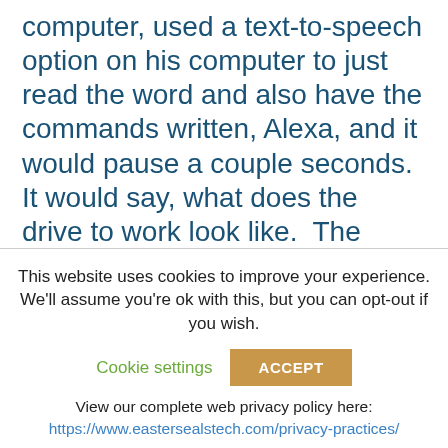computer, used a text-to-speech option on his computer to just read the word and also have the commands written, Alexa, and it would pause a couple seconds.  It would say, what does the drive to work look like.  The computer would just read it.  It did a fairly good job of recognizing that as well.  I think there are a lot of wireless options there. I don't know if folks have heard of the Tecla app. It's kind of a switch control device for using your iOS devices.  But you can create a button that can
This website uses cookies to improve your experience. We'll assume you're ok with this, but you can opt-out if you wish.
Cookie settings
ACCEPT
View our complete web privacy policy here:
https://www.eastersealstech.com/privacy-practices/